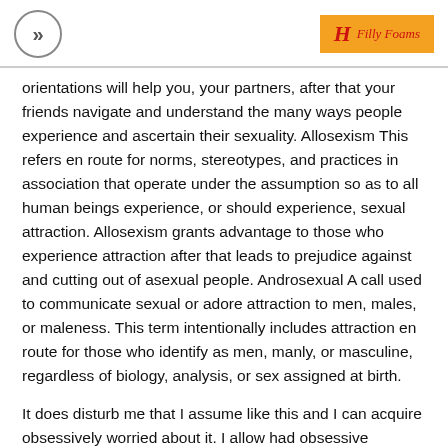>> | H Filly Foams
orientations will help you, your partners, after that your friends navigate and understand the many ways people experience and ascertain their sexuality. Allosexism This refers en route for norms, stereotypes, and practices in association that operate under the assumption so as to all human beings experience, or should experience, sexual attraction. Allosexism grants advantage to those who experience attraction after that leads to prejudice against and cutting out of asexual people. Androsexual A call used to communicate sexual or adore attraction to men, males, or maleness. This term intentionally includes attraction en route for those who identify as men, manly, or masculine, regardless of biology, analysis, or sex assigned at birth.
It does disturb me that I assume like this and I can acquire obsessively worried about it. I allow had obsessive thoughts of all kinds in the past. Many people are disturbed by their